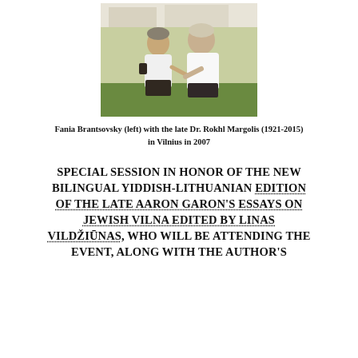[Figure (photo): Two elderly women in white tops standing outdoors talking to each other, Fania Brantsovsky (left) and Dr. Rokhl Margolis]
Fania Brantsovsky (left) with the late Dr. Rokhl Margolis (1921-2015) in Vilnius in 2007
SPECIAL SESSION IN HONOR OF THE NEW BILINGUAL YIDDISH-LITHUANIAN EDITION OF THE LATE AARON GARON'S ESSAYS ON JEWISH VILNA EDITED BY LINAS VILDŽIŪNAS, WHO WILL BE ATTENDING THE EVENT, ALONG WITH THE AUTHOR'S